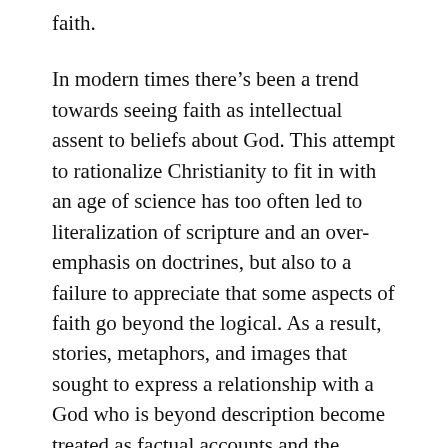faith.
In modern times there’s been a trend towards seeing faith as intellectual assent to beliefs about God. This attempt to rationalize Christianity to fit in with an age of science has too often led to literalization of scripture and an over-emphasis on doctrines, but also to a failure to appreciate that some aspects of faith go beyond the logical. As a result, stories, metaphors, and images that sought to express a relationship with a God who is beyond description become treated as factual accounts and the supra-rational truths they contain lose much of their power.